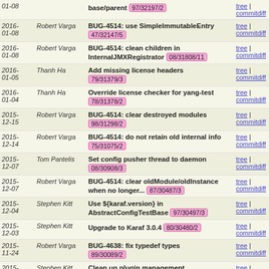| Date | Author | Commit | Links |
| --- | --- | --- | --- |
| 2016-01-08 | Robert Varga | BUG-4514: use SimpleImmutableEntry 47/32147/5 | tree | commitdiff |
| 2016-01-08 | Robert Varga | BUG-4514: clean children in InternalJMXRegistrator 08/31808/11 | tree | commitdiff |
| 2016-01-05 | Thanh Ha | Add missing license headers 79/31379/3 | tree | commitdiff |
| 2016-01-04 | Thanh Ha | Override license checker for yang-test 78/31378/2 | tree | commitdiff |
| 2015-12-15 | Robert Varga | BUG-4514: clear destroyed modules 98/31298/2 | tree | commitdiff |
| 2015-12-14 | Robert Varga | BUG-4514: do not retain old internal info 75/31075/2 | tree | commitdiff |
| 2015-12-07 | Tom Pantelis | Set config pusher thread to daemon 08/30908/3 | tree | commitdiff |
| 2015-12-07 | Robert Varga | BUG-4514: clear oldModule/oldInstance when no longer... 87/30487/3 | tree | commitdiff |
| 2015-12-04 | Stephen Kitt | Use ${karaf.version} in AbstractConfigTestBase 97/30497/3 | tree | commitdiff |
| 2015-12-03 | Stephen Kitt | Upgrade to Karaf 3.0.4 80/30480/2 | tree | commitdiff |
| 2015-11-24 | Robert Varga | BUG-4638: fix typedef types 89/30089/2 | tree | commitdiff |
| 2015-11-18 | Stephen Kitt | Clean up plugin management 31/26531/6 | tree | commitdiff |
| 2015- | Gary Wu | Fix resource leaks in test cases | tree |